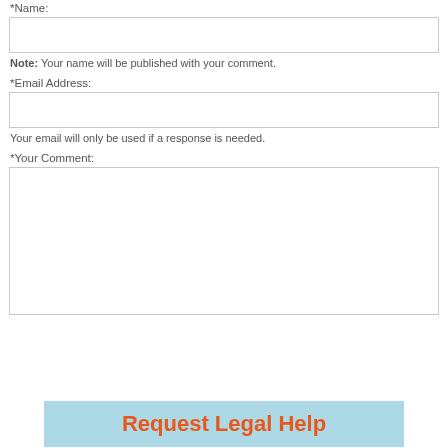*Name:
Note: Your name will be published with your comment.
*Email Address:
Your email will only be used if a response is needed.
*Your Comment:
[Figure (other): Request Legal Help button with light blue background and orange bold text]